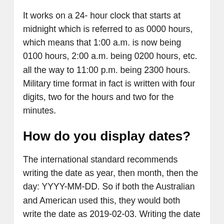It works on a 24- hour clock that starts at midnight which is referred to as 0000 hours, which means that 1:00 a.m. is now being 0100 hours, 2:00 a.m. being 0200 hours, etc. all the way to 11:00 p.m. being 2300 hours. Military time format in fact is written with four digits, two for the hours and two for the minutes.
How do you display dates?
The international standard recommends writing the date as year, then month, then the day: YYYY-MM-DD. So if both the Australian and American used this, they would both write the date as 2019-02-03. Writing the date this way avoids confusion by placing the year first. Much of Asia uses this